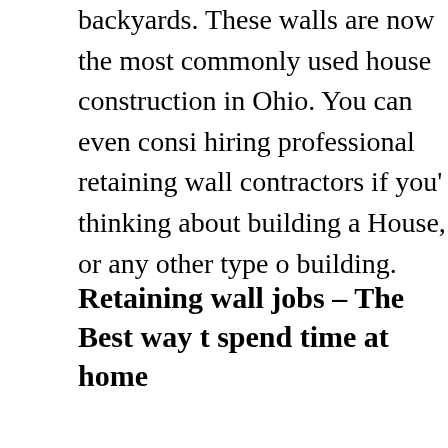backyards. These walls are now the most commonly used house construction in Ohio. You can even consider hiring professional retaining wall contractors if you're thinking about building a House, or any other type of building.
Retaining wall jobs – The Best way to spend time at home